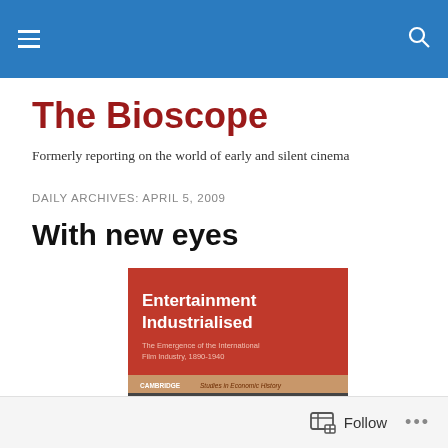The Bioscope (navigation header bar)
The Bioscope
Formerly reporting on the world of early and silent cinema
DAILY ARCHIVES: APRIL 5, 2009
With new eyes
[Figure (photo): Book cover of 'Entertainment Industrialised: The Emergence of the International Film Industry, 1890-1940' published by Cambridge Studies in Economic History, red cover with black-and-white photo strip at the bottom]
Follow ...